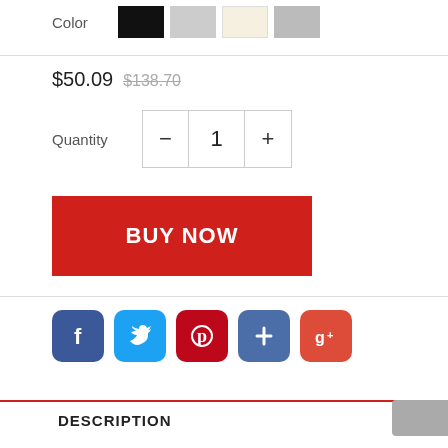Color
$50.09 $138.70
Quantity 1
BUY NOW
[Figure (infographic): Social sharing icons: Facebook, Twitter, Pinterest, Fancy/Follow, Google+]
DESCRIPTION